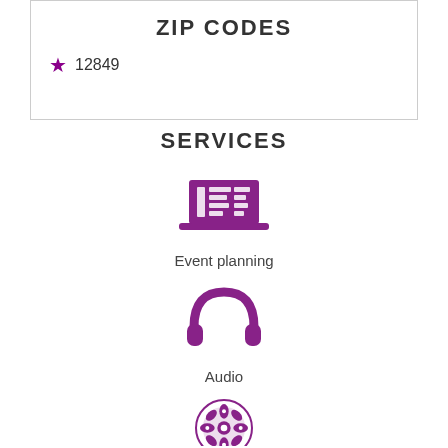ZIP CODES
★ 12849
SERVICES
[Figure (illustration): Purple laptop/event planning icon]
Event planning
[Figure (illustration): Purple headphones/audio icon]
Audio
[Figure (illustration): Purple decorative circular icon (partially visible)]